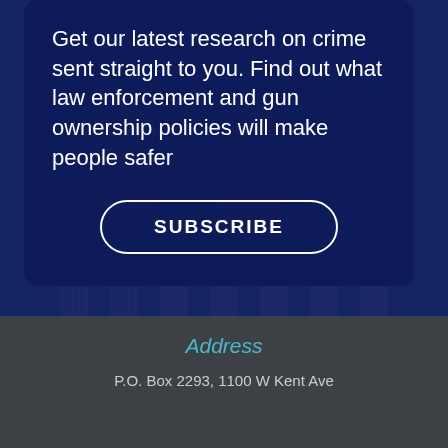Get our latest research on crime sent straight to you. Find out what law enforcement and gun ownership policies will make people safer
SUBSCRIBE
[Figure (photo): Government building with large columns and American flags, overlaid with dark blue tint]
Address
P.O. Box 2293, 1100 W Kent Ave